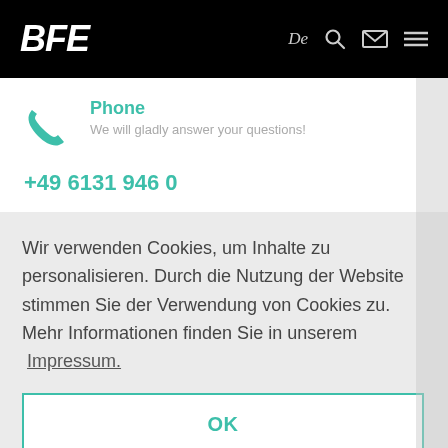BFE  De
Phone
We will gladly answer your questions!
+49 6131 946 0
Wir verwenden Cookies, um Inhalte zu personalisieren. Durch die Nutzung der Website stimmen Sie der Verwendung von Cookies zu. Mehr Informationen finden Sie in unserem Impressum.
OK
Sign up today!